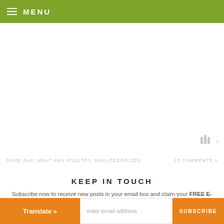MENU
[Figure (screenshot): Blank white content area with a small watermark/logo icon (WP) in grey at the bottom right]
GAME DAY, MEAT AND POULTRY, UNCATEGORIZED
10 COMMENTS »
KEEP IN TOUCH
Subscribe now to receive new posts in your email box and claim your FREE E-BOOK filled with over 50 delicious recipes!
enter email address
SUBSCRIBE
Translate »